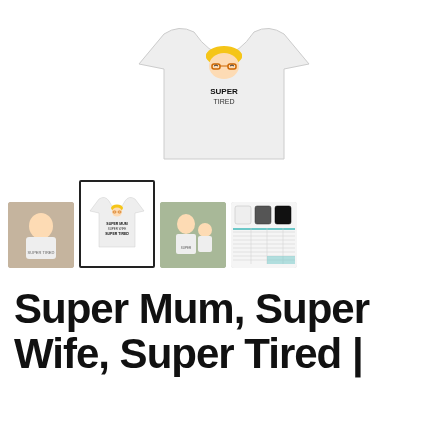[Figure (photo): Main product image: white t-shirt with 'Super Mum, Super Wife, Super Tired' graphic featuring a cartoon woman face with yellow headband and glasses]
[Figure (photo): Thumbnail 1: Woman wearing the white t-shirt outdoors]
[Figure (photo): Thumbnail 2 (selected): White t-shirt product shot with graphic design, shown in a bordered frame]
[Figure (photo): Thumbnail 3: Mother and child outdoors, wearing the t-shirt]
[Figure (photo): Thumbnail 4: Size chart and product variants in multiple colors]
Super Mum, Super Wife, Super Tired |